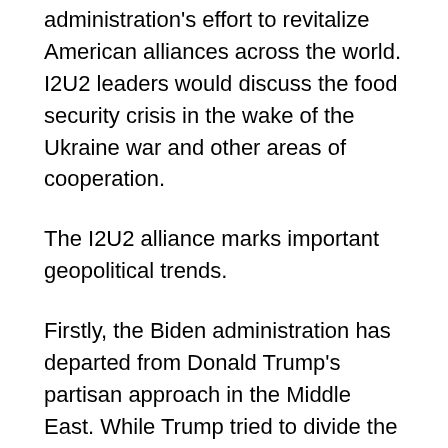administration's effort to revitalize American alliances across the world. I2U2 leaders would discuss the food security crisis in the wake of the Ukraine war and other areas of cooperation.
The I2U2 alliance marks important geopolitical trends.
Firstly, the Biden administration has departed from Donald Trump's partisan approach in the Middle East. While Trump tried to divide the regional powers by explicitly recognizing Jerusalem as the capital of Israel without paying any heed to Palestine's claim over the Holy